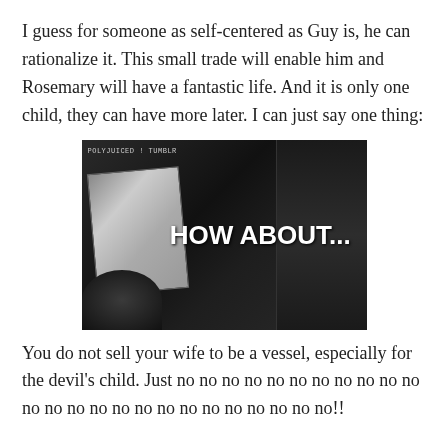I guess for someone as self-centered as Guy is, he can rationalize it. This small trade will enable him and Rosemary will have a fantastic life. And it is only one child, they can have more later. I can just say one thing:
[Figure (screenshot): Black and white screenshot from a film/TV show. A person holds up a newspaper/document. White bold text overlay reads 'HOW ABOUT...' Watermark in top left reads 'POLYJUICED ! TUMBLR'. Dark background with bookshelves visible.]
You do not sell your wife to be a vessel, especially for the devil's child. Just no no no no no no no no no no no no no no no no no no no no no no no no no!!